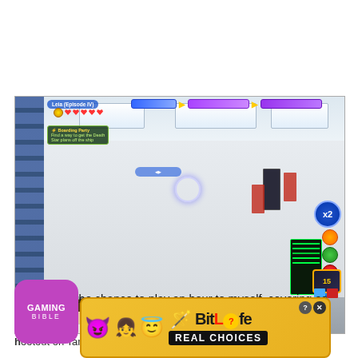[Figure (screenshot): LEGO Star Wars game screenshot showing a character (Leia, Episode IV) in a shootout on the Tantive IV spaceship interior. Game HUD visible with health bars, quest objective, x2 multiplier badge, and score display.]
hootout on Tantive IV / Credit: WB Games
[Figure (logo): Gaming Bible purple logo with rounded square shape]
I was given the chance to play an hour to myself, coveri... as check...
[Figure (screenshot): BitLife advertisement banner with emoji characters, BitLife logo and REAL CHOICES text on dark background]